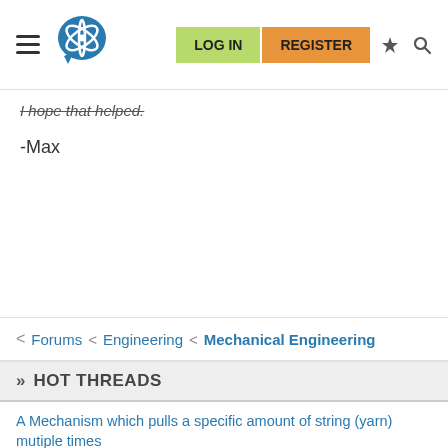LOG IN | REGISTER
-I hope that helped.

-Max
< Forums < Engineering < Mechanical Engineering
» HOT THREADS
A Mechanism which pulls a specific amount of string (yarn) mutiple times
Two chain sprocket system
So who here has tried to make a homemade wind tunnel? My first attempt